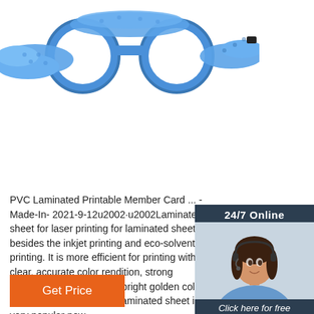[Figure (photo): Blue padded sports/protective goggles with velcro strap on white background]
[Figure (infographic): 24/7 Online chat widget with female customer service agent wearing headset, 'Click here for free chat!' text, and orange QUOTATION button]
PVC Laminated Printable Member Card ... - Made-In- 2021-9-12u2002·u2002Laminated sheet for laser printing for laminated sheet besides the inkjet printing and eco-solvent printing. It is more efficient for printing with its clear, accurate color rendition, strong adhesive force, stiffness, bright golden color, etc. the laser printing for laminated sheet is very popular now.
[Figure (illustration): Orange TOP button with dotted arch above text]
Get Price